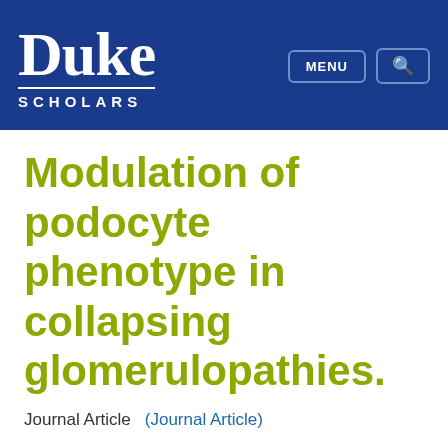Duke Scholars — MENU | Search
Modulation of podocyte phenotype in collapsing glomerulopathies.
Journal Article    (Journal Article)
Podocytes are well-differentiated postmitotic cells whose function is largely based on their complex cytoskeletal architecture. In diseases